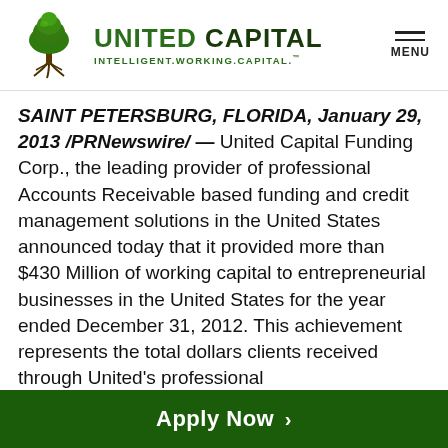[Figure (logo): United Capital logo with tree graphic and tagline INTELLIGENT.WORKING.CAPITAL.]
SAINT PETERSBURG, FLORIDA, January 29, 2013 /PRNewswire/ — United Capital Funding Corp., the leading provider of professional Accounts Receivable based funding and credit management solutions in the United States announced today that it provided more than $430 Million of working capital to entrepreneurial businesses in the United States for the year ended December 31, 2012. This achievement represents the total dollars clients received through United's professional
Apply Now >